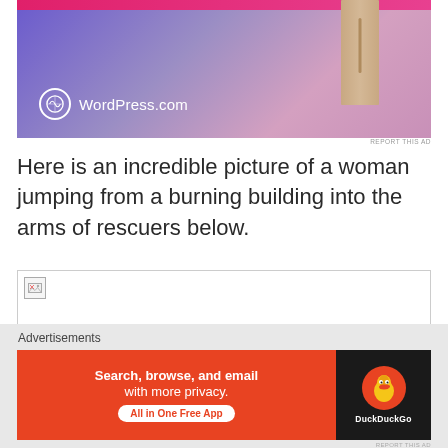[Figure (screenshot): WordPress.com advertisement with gradient blue-purple background, a wooden door graphic on the right, a pink/magenta bar at top, and WordPress.com logo with text at bottom left]
REPORT THIS AD
Here is an incredible picture of a woman jumping from a burning building into the arms of rescuers below.
[Figure (photo): Broken image placeholder with small broken image icon]
Advertisements
[Figure (screenshot): DuckDuckGo advertisement: orange/red background with text 'Search, browse, and email with more privacy. All in One Free App' on left, DuckDuckGo duck logo on dark background on right]
REPORT THIS AD